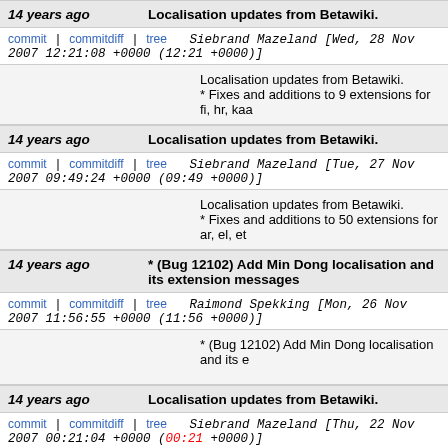14 years ago   Localisation updates from Betawiki.
commit | commitdiff | tree   Siebrand Mazeland [Wed, 28 Nov 2007 12:21:08 +0000 (12:21 +0000)]
Localisation updates from Betawiki.
* Fixes and additions to 9 extensions for fi, hr, kaa
14 years ago   Localisation updates from Betawiki.
commit | commitdiff | tree   Siebrand Mazeland [Tue, 27 Nov 2007 09:49:24 +0000 (09:49 +0000)]
Localisation updates from Betawiki.
* Fixes and additions to 50 extensions for ar, el, et
14 years ago   * (Bug 12102) Add Min Dong localisation and its extension messages
commit | commitdiff | tree   Raimond Spekking [Mon, 26 Nov 2007 11:56:55 +0000 (11:56 +0000)]
* (Bug 12102) Add Min Dong localisation and its e
14 years ago   Localisation updates from Betawiki.
commit | commitdiff | tree   Siebrand Mazeland [Thu, 22 Nov 2007 00:21:04 +0000 (00:21 +0000)]